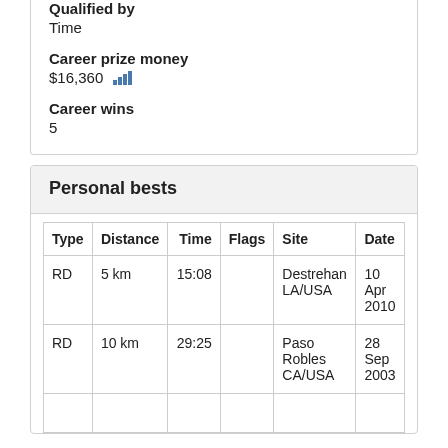Qualified by
Time
Career prize money
$16,360
Career wins
5
Personal bests
| Type | Distance | Time | Flags | Site | Date |
| --- | --- | --- | --- | --- | --- |
| RD | 5 km | 15:08 |  | Destrehan LA/USA | 10 Apr 2010 |
| RD | 10 km | 29:25 |  | Paso Robles CA/USA | 28 Sep 2003 |